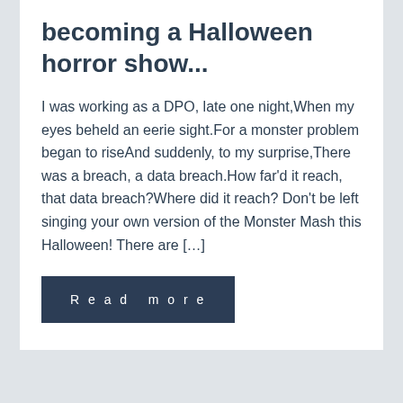becoming a Halloween horror show...
I was working as a DPO, late one night,When my eyes beheld an eerie sight.For a monster problem began to riseAnd suddenly, to my surprise,There was a breach, a data breach.How far'd it reach, that data breach?Where did it reach? Don't be left singing your own version of the Monster Mash this Halloween! There are [...]
Read more